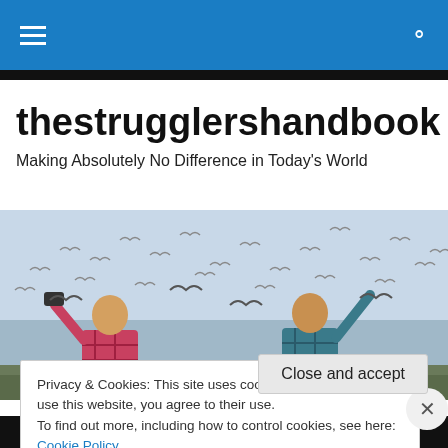thestrugglershandbook — navigation bar
thestrugglershandbook
Making Absolutely No Difference in Today's World
[Figure (photo): Two people seen from behind, arms raised, surrounded by a large flock of seagulls at a beach or waterfront.]
Privacy & Cookies: This site uses cookies. By continuing to use this website, you agree to their use.
To find out more, including how to control cookies, see here: Cookie Policy
Close and accept
[Figure (screenshot): Bottom advertisement strip showing 'All in One Free App' in orange and 'DuckDuckGo' in red on dark background.]